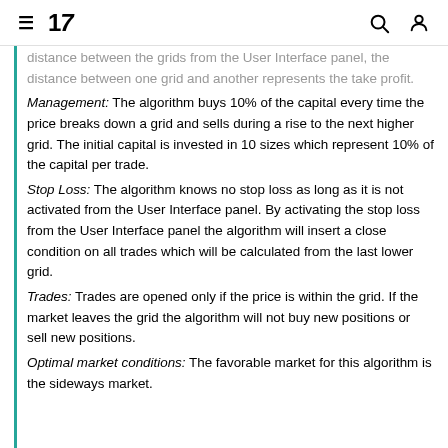≡ 17 [search icon] [user icon]
distance between the grids from the User Interface panel, the distance between one grid and another represents the take profit. Management: The algorithm buys 10% of the capital every time the price breaks down a grid and sells during a rise to the next higher grid. The initial capital is invested in 10 sizes which represent 10% of the capital per trade. Stop Loss: The algorithm knows no stop loss as long as it is not activated from the User Interface panel. By activating the stop loss from the User Interface panel the algorithm will insert a close condition on all trades which will be calculated from the last lower grid. Trades: Trades are opened only if the price is within the grid. If the market leaves the grid the algorithm will not buy new positions or sell new positions. Optimal market conditions: The favorable market for this algorithm is the sideways market.